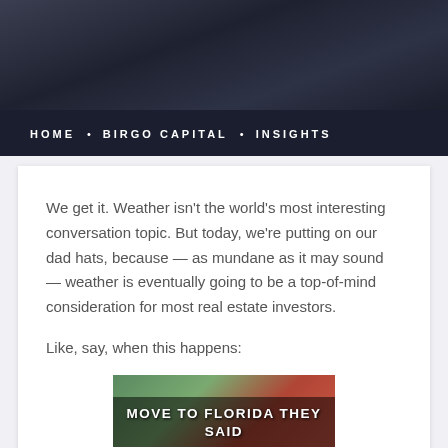[Figure (photo): Dark blue/grey header background image showing a nighttime or dark cityscape or architectural scene.]
HOME • BIRGO CAPITAL • INSIGHTS
We get it. Weather isn't the world's most interesting conversation topic. But today, we're putting on our dad hats, because — as mundane as it may sound — weather is eventually going to be a top-of-mind consideration for most real estate investors.
Like, say, when this happens:
[Figure (illustration): Meme image with text 'MOVE TO FLORIDA THEY SAID' overlaid on a background scene.]